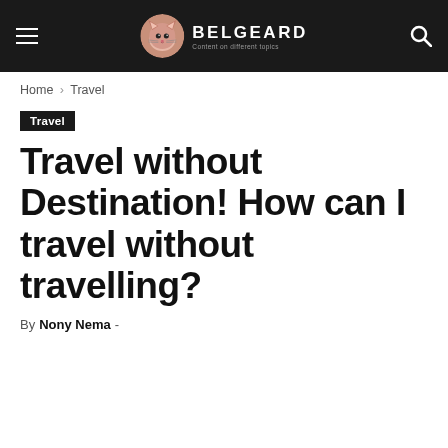BELGEARD — Content on different topics
Home › Travel
Travel
Travel without Destination! How can I travel without travelling?
By Nony Nema -